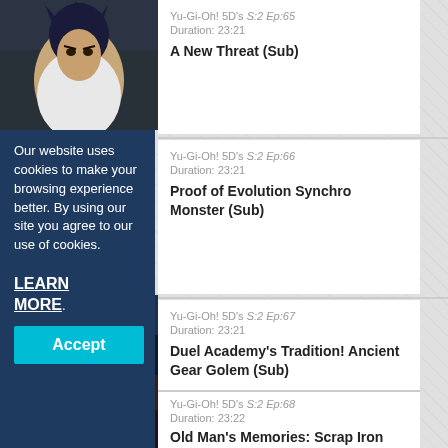[Figure (screenshot): Anime character thumbnail - dark haired character leaning forward]
Yu-Gi-Oh! 5D's S:2 Ep:65
Duration: 23:21
A New Threat (Sub)
Yu-Gi-Oh! 5D's S:2 Ep:66
Duration: 23:21
Proof of Evolution Synchro Monster (Sub)
Yu-Gi-Oh! 5D's S:2 Ep:67
Duration: 23:21
Duel Academy's Tradition! Ancient Gear Golem (Sub)
Yu-Gi-Oh! 5D's S:2 Ep:68
Duration: 23:22
Old Man's Memories: Scrap Iron
Our website uses cookies to make your browsing experience better. By using our site you agree to our use of cookies. LEARN MORE.
Accept